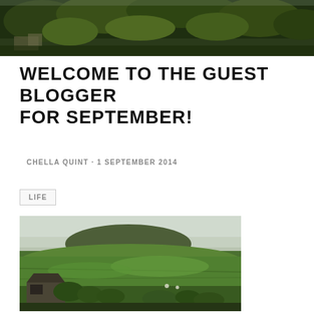[Figure (photo): Header photo of trees and buildings from above, dark green foliage]
WELCOME TO THE GUEST BLOGGER FOR SEPTEMBER!
CHELLA QUINT · 1 SEPTEMBER 2014
LIFE
[Figure (photo): Landscape photo of green rolling hills with a mountain in the background, farm buildings in foreground, lush green fields]